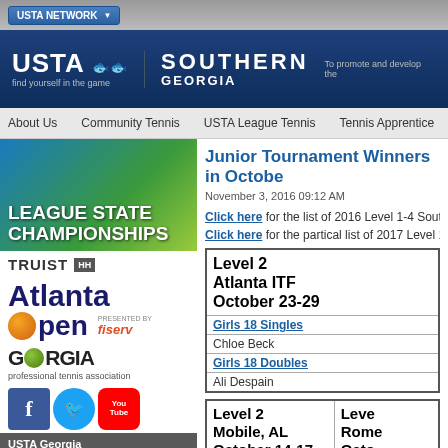USTA NETWORK
[Figure (logo): USTA Southern Georgia header banner with logo and tagline 'find yourself in the game', 'SOUTHERN GEORGIA', 'To promote and develop the']
About Us | Community Tennis | USTA League Tennis | Tennis Apprentice
[Figure (photo): League State Championships banner image]
Junior Tournament Winners in October
November 3, 2016 09:12 AM
Click here for the list of 2016 Level 1-4 Southern
Click here for the partical list of 2017 Level 1-4 S
[Figure (logo): Truist HH logo]
[Figure (logo): Atlanta Open presented by Fiserv logo]
[Figure (logo): Georgia Professional Tennis Association logo]
[Figure (screenshot): Facebook, Twitter, YouTube social media icons]
USTA Georgia
116 Marble Mill Road
Marietta, GA 30060
404-256-9543
| Level 2 Atlanta ITF October 23-29 |
| --- |
| Girls 18 Singles |
| Chloe Beck |
| Girls 18 Doubles |
| Ali Despain |
| Level 2 Mobile, AL October 14-17 | Level Rome Octo |
| --- | --- |